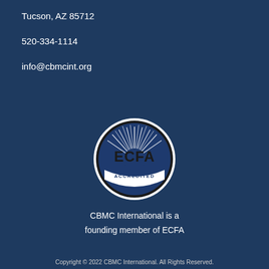Tucson, AZ 85712
520-334-1114
info@cbmcint.org
[Figure (logo): ECFA Accredited circular logo with blue background, sunburst rays at top, bold ECFA text in center, and ACCREDITED text on lower banner, surrounded by black and white circular border]
CBMC International is a founding member of ECFA
Copyright © 2022 CBMC International. All Rights Reserved.